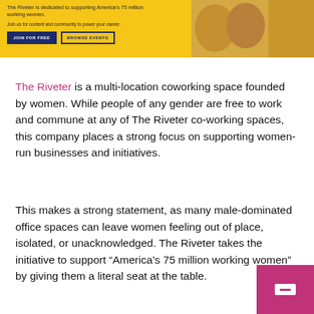[Figure (illustration): Yellow banner advertisement for The Riveter featuring tagline 'The Riveter is dedicated to supporting America's 75 million working women.' and subtitle 'Join us for content and community to power your career.' with two buttons 'JOIN FOR FREE' and 'BROWSE EVENTS' on the left, and a photo of women on the right.]
The Riveter is a multi-location coworking space founded by women. While people of any gender are free to work and commune at any of The Riveter co-working spaces, this company places a strong focus on supporting women-run businesses and initiatives.
This makes a strong statement, as many male-dominated office spaces can leave women feeling out of place, isolated, or unacknowledged. The Riveter takes the initiative to support “America’s 75 million working women” by giving them a literal seat at the table.